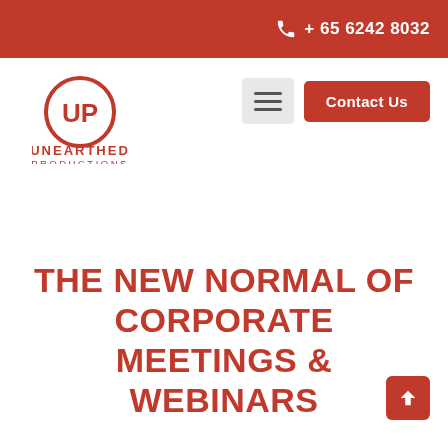+ 65 6242 8032
[Figure (logo): Unearthed Productions logo — red circle with UP letters, company name below in red]
Contact Us
THE NEW NORMAL OF CORPORATE MEETINGS & WEBINARS